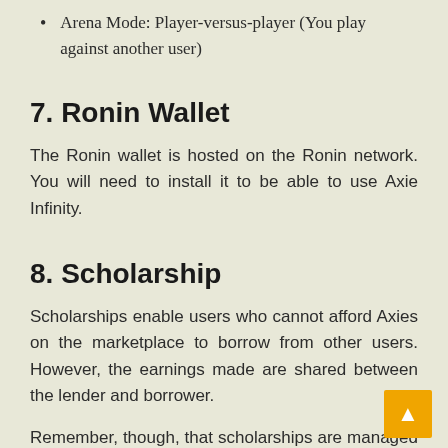Arena Mode: Player-versus-player (You play against another user)
7. Ronin Wallet
The Ronin wallet is hosted on the Ronin network. You will need to install it to be able to use Axie Infinity.
8. Scholarship
Scholarships enable users who cannot afford Axies on the marketplace to borrow from other users. However, the earnings made are shared between the lender and borrower.
Remember, though, that scholarships are managed by the players and not the Axie Infinity team.